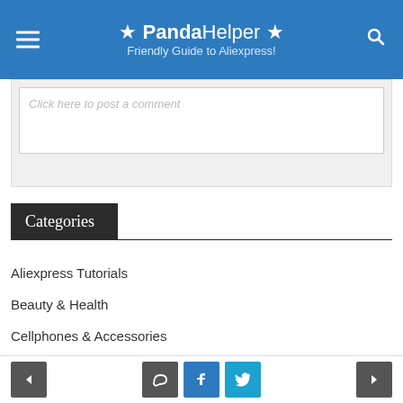★ PandaHelper ★ Friendly Guide to Aliexpress!
Click here to post a comment
Categories
Aliexpress Tutorials
Beauty & Health
Cellphones & Accessories
Clothing And Accessories
Electronics
Hobby
Home And Garden
Jewelry And Watches
< comment f twitter >